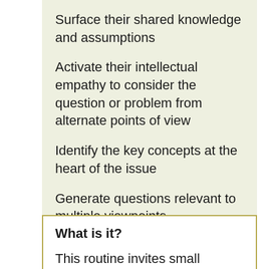Surface their shared knowledge and assumptions
Activate their intellectual empathy to consider the question or problem from alternate points of view
Identify the key concepts at the heart of the issue
Generate questions relevant to multiple viewpoints
What is it?
This routine invites small